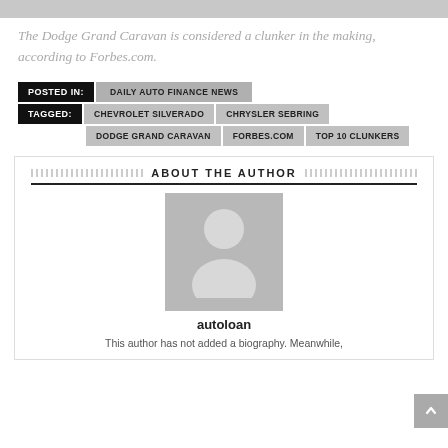[Figure (photo): Gray placeholder bar at top of page]
The Dodge Grand Caravan is considered a clunker in the making, according to Forbes.com.
POSTED IN: DAILY AUTO FINANCE NEWS
TAGGED: CHEVROLET SILVERADO | CHRYSLER SEBRING | DODGE GRAND CARAVAN | FORBES.COM | TOP 10 CLUNKERS
ABOUT THE AUTHOR
[Figure (photo): Generic author placeholder avatar image — gray background with white silhouette of a person]
autoloan
This author has not added a biography. Meanwhile,